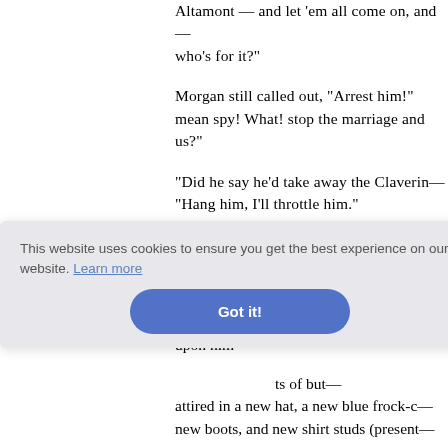Altamont — and let 'em all come on, and — who's for it?"
Morgan still called out, "Arrest him!" mean spy! What! stop the marriage and us?"
"Did he say he'd take away the Claverin— "Hang him, I'll throttle him."
"Keep him, darling, till the coach passes—
"D—— him, I'll choke him if he stirs— coach came, and Mr. Amory or Armstro—
of this e— upon him—
—ts of but— attired in a new hat, a new blue frock-c— new boots, and new shirt studs (present—
This website uses cookies to ensure you get the best experience on our website. Learn more
Got it!